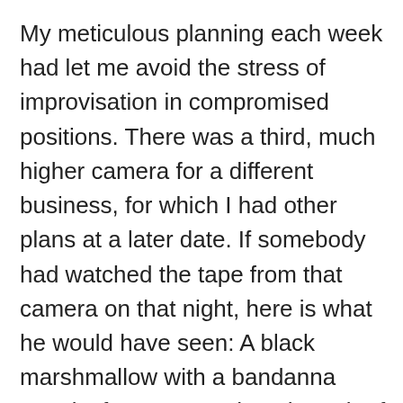My meticulous planning each week had let me avoid the stress of improvisation in compromised positions. There was a third, much higher camera for a different business, for which I had other plans at a later date. If somebody had watched the tape from that camera on that night, here is what he would have seen: A black marshmallow with a bandanna over its face approaches the pair of cameras, places a milk crate on the ground beneath them, pulls out a pair of wire cutters and reaches for the cameras, fails to reach them, hops down, and looks around frantically. Said black marshmallow then proceeds to run around to every restaurant and bar in the alley and eventually drags a wooden pallet from behind one of them, leans it against the wall, and climbs up to the cameras, snips the wires, and attempts to